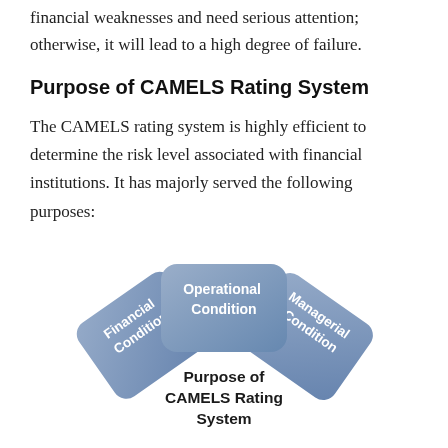financial weaknesses and need serious attention; otherwise, it will lead to a high degree of failure.
Purpose of CAMELS Rating System
The CAMELS rating system is highly efficient to determine the risk level associated with financial institutions. It has majorly served the following purposes:
[Figure (infographic): Three overlapping rounded rectangle tabs arranged like a fan. Left tab (rotated, blue-gray): 'Financial Condition'. Center tab (front, blue-gray): 'Operational Condition'. Right tab (rotated, blue-gray): 'Managerial Condition'. Below center: bold text 'Purpose of CAMELS Rating System'.]